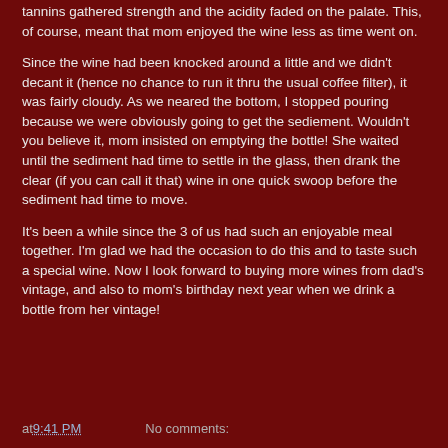tannins gathered strength and the acidity faded on the palate. This, of course, meant that mom enjoyed the wine less as time went on.
Since the wine had been knocked around a little and we didn't decant it (hence no chance to run it thru the usual coffee filter), it was fairly cloudy. As we neared the bottom, I stopped pouring because we were obviously going to get the sediement. Wouldn't you believe it, mom insisted on emptying the bottle! She waited until the sediment had time to settle in the glass, then drank the clear (if you can call it that) wine in one quick swoop before the sediment had time to move.
It's been a while since the 3 of us had such an enjoyable meal together. I'm glad we had the occasion to do this and to taste such a special wine. Now I look forward to buying more wines from dad's vintage, and also to mom's birthday next year when we drink a bottle from her vintage!
at 9:41 PM    No comments: